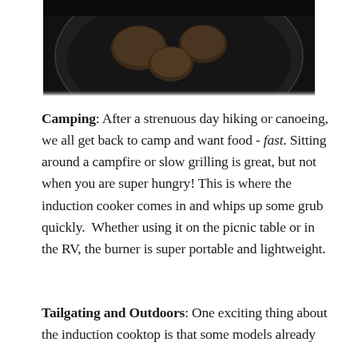[Figure (photo): Dark close-up photo of food cooking in a cast iron skillet, top portion of image]
Camping: After a strenuous day hiking or canoeing, we all get back to camp and want food - fast. Sitting around a campfire or slow grilling is great, but not when you are super hungry! This is where the induction cooker comes in and whips up some grub quickly. Whether using it on the picnic table or in the RV, the burner is super portable and lightweight.
Tailgating and Outdoors: One exciting thing about the induction cooktop is that some models already